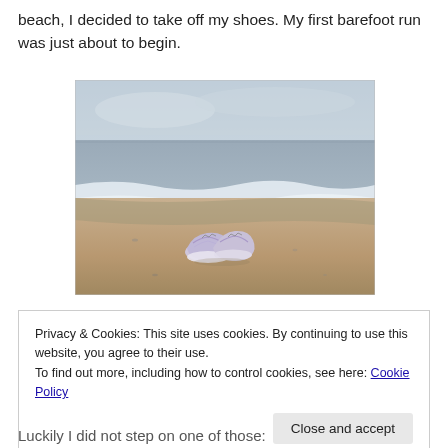beach, I decided to take off my shoes. My first barefoot run was just about to begin.
[Figure (photo): A pair of running shoes left on a wet sandy beach with ocean waves in the background under an overcast sky.]
Privacy & Cookies: This site uses cookies. By continuing to use this website, you agree to their use.
To find out more, including how to control cookies, see here: Cookie Policy
[Close and accept button]
Luckily I did not step on one of those: